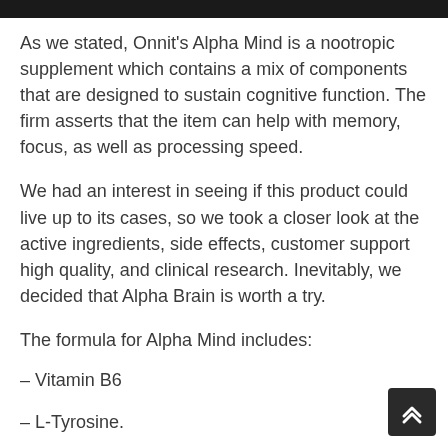As we stated, Onnit's Alpha Mind is a nootropic supplement which contains a mix of components that are designed to sustain cognitive function. The firm asserts that the item can help with memory, focus, as well as processing speed.
We had an interest in seeing if this product could live up to its cases, so we took a closer look at the active ingredients, side effects, customer support high quality, and clinical research. Inevitably, we decided that Alpha Brain is worth a try.
The formula for Alpha Mind includes:
– Vitamin B6
– L-Tyrosine.
– L-Theanine.